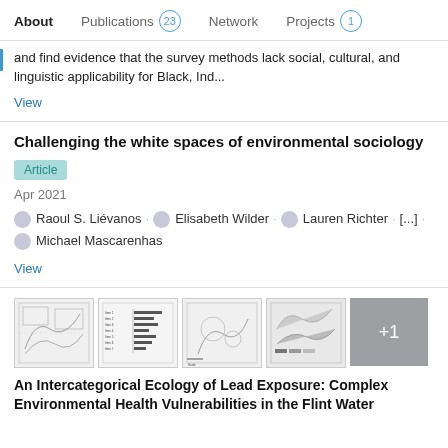About   Publications 23   Network   Projects 1
and find evidence that the survey methods lack social, cultural, and linguistic applicability for Black, Ind...
View
Challenging the white spaces of environmental sociology
Article
Apr 2021
Raoul S. Liévanos · Elisabeth Wilder · Lauren Richter · [...] · Michael Mascarenhas
View
[Figure (other): Four thumbnail images of maps and charts related to Flint water research plus a +1 overlay tile]
An Intercategorical Ecology of Lead Exposure: Complex Environmental Health Vulnerabilities in the Flint Water